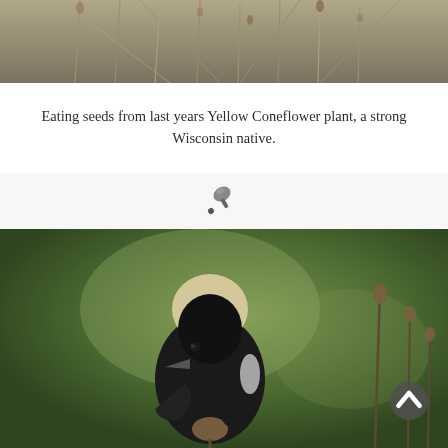[Figure (photo): Close-up photo of dry seed stalks of a Yellow Coneflower plant, with thin brown stems and seed heads visible against a muted background.]
Eating seeds from last years Yellow Coneflower plant, a strong Wisconsin native.
[Figure (illustration): Small icon of a pushpin or thumbtack emoji centered on a light gray background strip.]
[Figure (photo): Close-up photo of a Bobolink bird (black and white plumage, buff-colored nape) perched on coneflower seed heads against a green blurred background.]